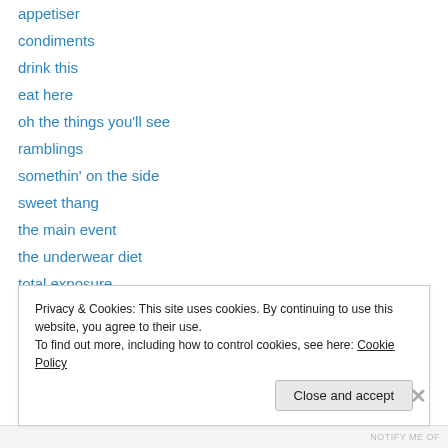appetiser
condiments
drink this
eat here
oh the things you'll see
ramblings
somethin' on the side
sweet thang
the main event
the underwear diet
total exposure
Uncategorized
yup. i bake now.
Privacy & Cookies: This site uses cookies. By continuing to use this website, you agree to their use. To find out more, including how to control cookies, see here: Cookie Policy
Close and accept